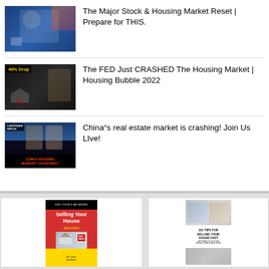[Figure (screenshot): Video thumbnail: man in blue holding a mug, stock market graphics in background]
The Major Stock & Housing Market Reset | Prepare for THIS.
[Figure (screenshot): Video thumbnail: '40% Drop' text in yellow, house with downward arrow, man in background]
The FED Just CRASHED The Housing Market | Housing Bubble 2022
[Figure (screenshot): Video thumbnail: 'CHINA HOUSING MARKET CRASHING?' with two people, livestream replay label]
China"s real estate market is crashing! Join Us LIve!
[Figure (photo): Book cover: Selling Your House for Dummies (black/red/yellow cover with FOR SALE sign)]
[Figure (photo): Book cover: 101 Tips for Selling Your House Fast, showing interior home photos]